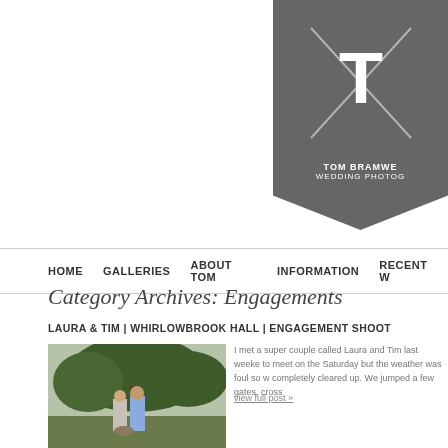[Figure (logo): Tom Bramwell Wedding Photography logo — grey pennant banner with large T, diagonal X lines, and white text]
HOME   GALLERIES   ABOUT TOM   INFORMATION   RECENT W
Category Archives: Engagements
LAURA & TIM | WHIRLOWBROOK HALL | ENGAGEMENT SHOOT
[Figure (photo): Couple standing outdoors in a garden/park setting with trees behind them]
I met a super couple called Laura and Tim last weeke... to meet on the Saturday but the weather was foul so w... completely cleared up. We jumped a few gates, cross...
view full post »